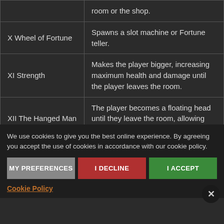| Card | Effect |
| --- | --- |
|  | room or the shop. |
| X Wheel of Fortune | Spawns a slot machine or Fortune teller. |
| XI Strength | Makes the player bigger, increasing maximum health and damage until the player leaves the room. |
| XII The Hanged Man | The player becomes a floating head until they leave the room, allowing flight over obstacles. |
We use cookies to give you the best online experience. By agreeing you accept the use of cookies in accordance with our cookie policy.
MY PREFERENCES | I DECLINE | I ACCEPT
Cookie Policy